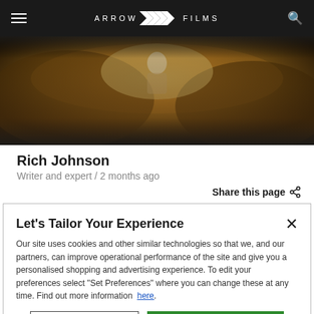ARROW FILMS
[Figure (photo): Hero image with warm sandy/earthy tones and dark overlay, partially visible figure]
Rich Johnson
Writer and expert / 2 months ago
Share this page
Let's Tailor Your Experience
Our site uses cookies and other similar technologies so that we, and our partners, can improve operational performance of the site and give you a personalised shopping and advertising experience. To edit your preferences select "Set Preferences" where you can change these at any time. Find out more information here.
Set Preferences
That's OK